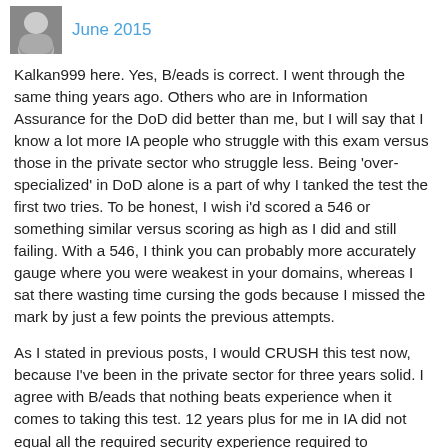June 2015
Kalkan999 here. Yes, B/eads is correct. I went through the same thing years ago. Others who are in Information Assurance for the DoD did better than me, but I will say that I know a lot more IA people who struggle with this exam versus those in the private sector who struggle less. Being 'over-specialized' in DoD alone is a part of why I tanked the test the first two tries. To be honest, I wish i'd scored a 546 or something similar versus scoring as high as I did and still failing. With a 546, I think you can probably more accurately gauge where you were weakest in your domains, whereas I sat there wasting time cursing the gods because I missed the mark by just a few points the previous attempts.
As I stated in previous posts, I would CRUSH this test now, because I've been in the private sector for three years solid. I agree with B/eads that nothing beats experience when it comes to taking this test. 12 years plus for me in IA did not equal all the required security experience required to understand all ten --now eight--domains. Terminology tripped me up A LOT, meaning I was trying to decipher the private sector (ISC)2 term versus the military/Department of State